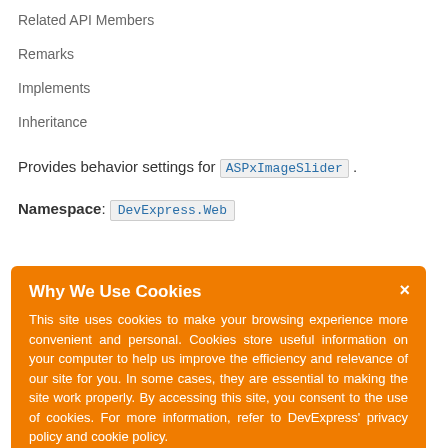Related API Members
Remarks
Implements
Inheritance
Provides behavior settings for ASPxImageSlider.
Namespace: DevExpress.Web
Why We Use Cookies
This site uses cookies to make your browsing experience more convenient and personal. Cookies store useful information on your computer to help us improve the efficiency and relevance of our site for you. In some cases, they are essential to making the site work properly. By accessing this site, you consent to the use of cookies. For more information, refer to DevExpress' privacy policy and cookie policy.